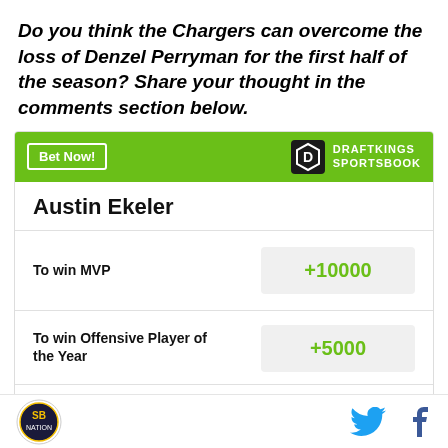Do you think the Chargers can overcome the loss of Denzel Perryman for the first half of the season? Share your thought in the comments section below.
|  |  |
| --- | --- |
| Austin Ekeler |  |
| To win MVP | +10000 |
| To win Offensive Player of the Year | +5000 |
| Most Rushing Yards in |  |
SB Nation logo | Twitter | Facebook